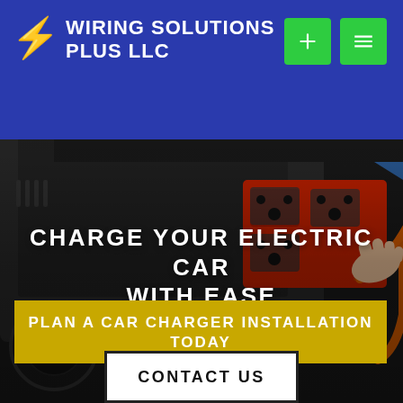[Figure (photo): A person's hand plugging an orange extension cord into a red outlet panel on a portable generator. The generator is black with a red base and visible wheels. Background is dark/industrial.]
WIRING SOLUTIONS PLUS LLC
CHARGE YOUR ELECTRIC CAR WITH EASE
PLAN A CAR CHARGER INSTALLATION TODAY
CONTACT US